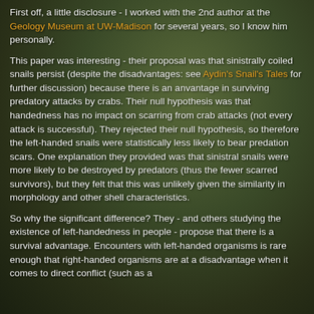First off, a little disclosure - I worked with the 2nd author at the Geology Museum at UW-Madison for several years, so I know him personally.
This paper was interesting - their proposal was that sinistrally coiled snails persist (despite the disadvantages: see Aydin's Snail's Tales for further discussion) because there is an anvantage in surviving predatory attacks by crabs. Their null hypothesis was that handedness has no impact on scarring from crab attacks (not every attack is successful). They rejected their null hypothesis, so therefore the left-handed snails were statistically less likely to bear predation scars. One explanation they provided was that sinistral snails were more likely to be destroyed by predators (thus the fewer scarred survivors), but they felt that this was unlikely given the similarity in morphology and other shell characteristics.
So why the significant difference? They - and others studying the existence of left-handedness in people - propose that there is a survival advantage. Encounters with left-handed organisms is rare enough that right-handed organisms are at a disadvantage when it comes to direct conflict (such as a